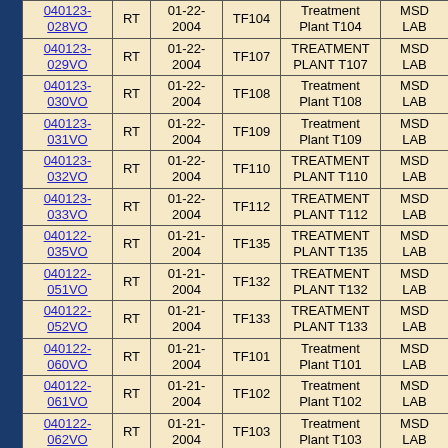| ID | Type | Date | Code | Facility | Lab |
| --- | --- | --- | --- | --- | --- |
| 040123-028VO | RT | 01-22-2004 | TF104 | Treatment Plant T104 | MSD LAB |
| 040123-029VO | RT | 01-22-2004 | TF107 | TREATMENT PLANT T107 | MSD LAB |
| 040123-030VO | RT | 01-22-2004 | TF108 | Treatment Plant T108 | MSD LAB |
| 040123-031VO | RT | 01-22-2004 | TF109 | Treatment Plant T109 | MSD LAB |
| 040123-032VO | RT | 01-22-2004 | TF110 | TREATMENT PLANT T110 | MSD LAB |
| 040123-033VO | RT | 01-22-2004 | TF112 | TREATMENT PLANT T112 | MSD LAB |
| 040122-035VO | RT | 01-21-2004 | TF135 | TREATMENT PLANT T135 | MSD LAB |
| 040122-051VO | RT | 01-21-2004 | TF132 | TREATMENT PLANT T132 | MSD LAB |
| 040122-052VO | RT | 01-21-2004 | TF133 | TREATMENT PLANT T133 | MSD LAB |
| 040122-060VO | RT | 01-21-2004 | TF101 | Treatment Plant T101 | MSD LAB |
| 040122-061VO | RT | 01-21-2004 | TF102 | Treatment Plant T102 | MSD LAB |
| 040122-062VO | RT | 01-21-2004 | TF103 | Treatment Plant T103 | MSD LAB |
| 040122- | RT | 01-21- | TF106 | TREATMENT | MSD |